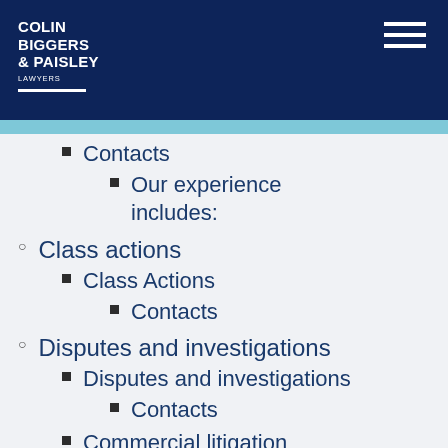[Figure (logo): Colin Biggers & Paisley Lawyers logo in white text on dark navy header]
Contacts
Our experience includes:
Class actions
Class Actions
Contacts
Disputes and investigations
Disputes and investigations
Contacts
Commercial litigation
Class Actions
Investigations and inquiries